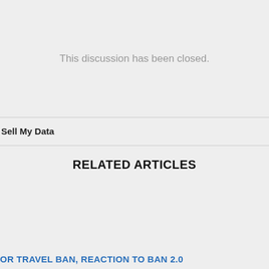This discussion has been closed.
Sell My Data
RELATED ARTICLES
OR TRAVEL BAN, REACTION TO BAN 2.0